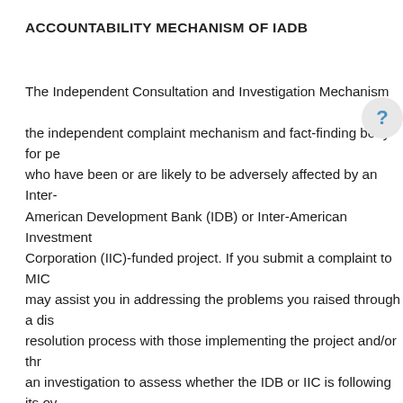ACCOUNTABILITY MECHANISM OF IADB
The Independent Consultation and Investigation Mechanism (MICI) is the independent complaint mechanism and fact-finding body for people who have been or are likely to be adversely affected by an Inter-American Development Bank (IDB) or Inter-American Investment Corporation (IIC)-funded project. If you submit a complaint to MICI, MICI may assist you in addressing the problems you raised through a dispute resolution process with those implementing the project and/or through an investigation to assess whether the IDB or IIC is following its own policies for preventing or mitigating harm to people or the environment. You can submit a complaint by sending an email to MICI@iadb.org. You can learn more about the MICI and how to file a complaint at http://www.iadb.org/en/mici/mici,1752.html (in English) or http://www.iadb.org/es/mici/mici,1752.html (Spanish).